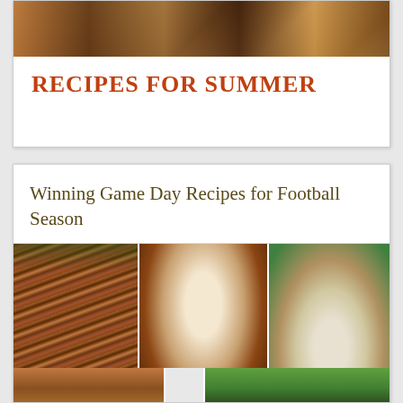[Figure (photo): Collage of summer recipes food photos at top of card]
RECIPES FOR SUMMER
Winning Game Day Recipes for Football Season
[Figure (photo): Three-panel food photo collage showing game day foods: chicken wings, sliders, and snack mix in green football cup]
Privacy & Cookies: This site uses cookies. By continuing to use this website, you agree to their use.
To find out more, including how to control cookies, see here:
Cookie Policy
[Figure (photo): Bottom strip with two partial food photos]